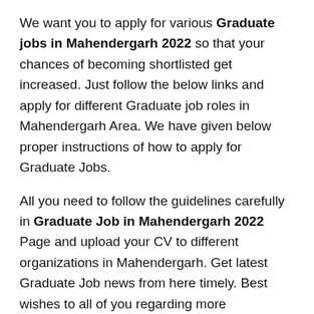We want you to apply for various Graduate jobs in Mahendergarh 2022 so that your chances of becoming shortlisted get increased. Just follow the below links and apply for different Graduate job roles in Mahendergarh Area. We have given below proper instructions of how to apply for Graduate Jobs.
All you need to follow the guidelines carefully in Graduate Job in Mahendergarh 2022 Page and upload your CV to different organizations in Mahendergarh. Get latest Graduate Job news from here timely. Best wishes to all of you regarding more Mahendergarh Jobs information.
Why us for Graduate pass job